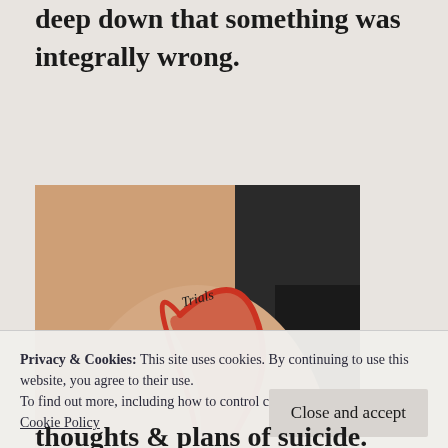deep down that something was integrally wrong.
[Figure (photo): Photo of a tattoo on an arm showing a red heart/question mark design with the words 'Trials', 'In', and 'Life' written on it.]
Privacy & Cookies: This site uses cookies. By continuing to use this website, you agree to their use.
To find out more, including how to control cookies, see here:
Cookie Policy
thoughts & plans of suicide. Cutting my arms